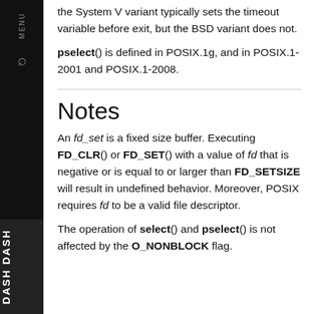the System V variant typically sets the timeout variable before exit, but the BSD variant does not.
pselect() is defined in POSIX.1g, and in POSIX.1-2001 and POSIX.1-2008.
Notes
An fd_set is a fixed size buffer. Executing FD_CLR() or FD_SET() with a value of fd that is negative or is equal to or larger than FD_SETSIZE will result in undefined behavior. Moreover, POSIX requires fd to be a valid file descriptor.
The operation of select() and pselect() is not affected by the O_NONBLOCK flag.